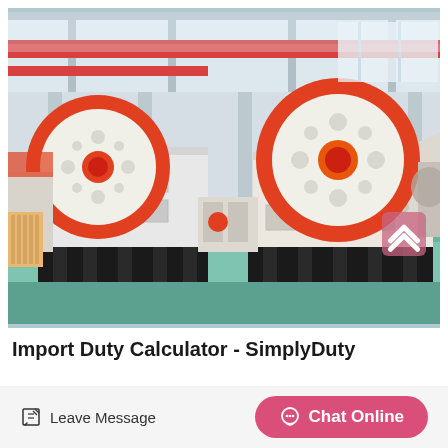[Figure (photo): Industrial factory floor showing two large jaw crusher machines with orange circular flywheels mounted on black steel frames, inside a warehouse with steel beams and red overhead crane rails. Teal-painted concrete floor visible in foreground.]
Import Duty Calculator - SimplyDuty
Leave Message
Chat Online